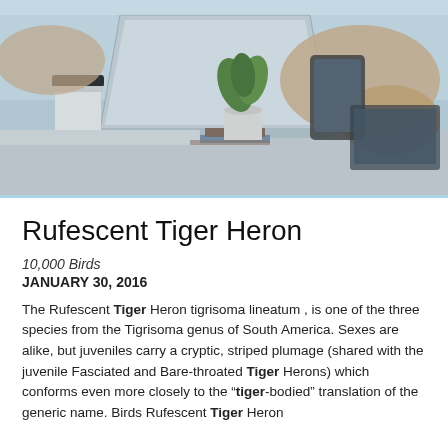[Figure (photo): Office desk scene with two people's hands, an open laptop, a travel coffee cup with black lid, a small potted plant, and various devices on a light-colored desk, photographed from above at an angle.]
Rufescent Tiger Heron
10,000 Birds
JANUARY 30, 2016
The Rufescent Tiger Heron tigrisoma lineatum , is one of the three species from the Tigrisoma genus of South America. Sexes are alike, but juveniles carry a cryptic, striped plumage (shared with the juvenile Fasciated and Bare-throated Tiger Herons) which conforms even more closely to the “tiger-bodied” translation of the generic name. Birds Rufescent Tiger Heron